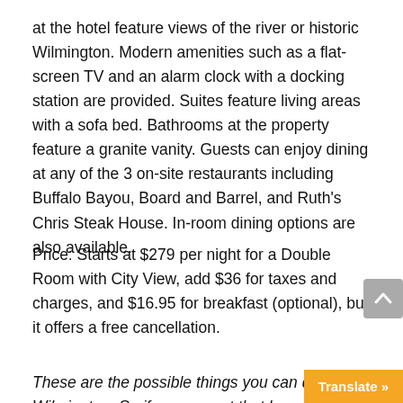at the hotel feature views of the river or historic Wilmington. Modern amenities such as a flat-screen TV and an alarm clock with a docking station are provided. Suites feature living areas with a sofa bed. Bathrooms at the property feature a granite vanity. Guests can enjoy dining at any of the 3 on-site restaurants including Buffalo Bayou, Board and Barrel, and Ruth's Chris Steak House. In-room dining options are also available.
Price: Starts at $279 per night for a Double Room with City View, add $36 for taxes and charges, and $16.95 for breakfast (optional), but it offers a free cancellation.
These are the possible things you can do in Wilmington. So if you are not that busy...